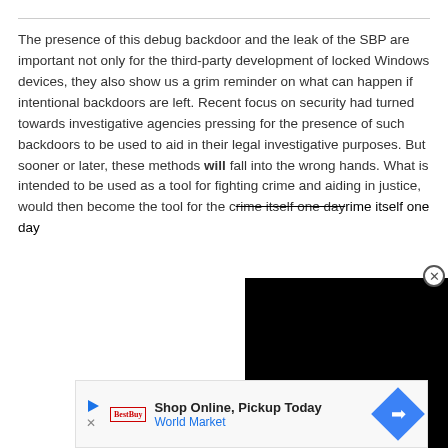The presence of this debug backdoor and the leak of the SBP are important not only for the third-party development of locked Windows devices, they also show us a grim reminder on what can happen if intentional backdoors are left. Recent focus on security had turned towards investigative agencies pressing for the presence of such backdoors to be used to aid in their legal investigative purposes. But sooner or later, these methods will fall into the wrong hands. What is intended to be used as a tool for fighting crime and aiding in justice, would then become the tool for the crime itself one day.
[Figure (screenshot): Black video player overlay with close (X) button in top-right corner]
[Figure (infographic): Advertisement bar: Shop Online, Pickup Today - World Market, with play icon, logo, and blue diamond arrow icon]